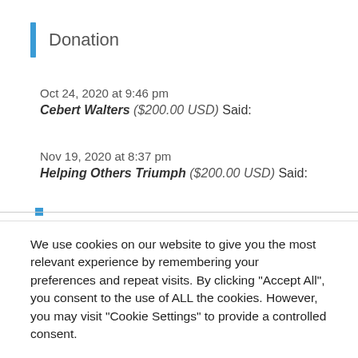Donation
Oct 24, 2020 at 9:46 pm
Cebert Walters ($200.00 USD) Said:
Nov 19, 2020 at 8:37 pm
Helping Others Triumph ($200.00 USD) Said:
We use cookies on our website to give you the most relevant experience by remembering your preferences and repeat visits. By clicking “Accept All”, you consent to the use of ALL the cookies. However, you may visit “Cookie Settings” to provide a controlled consent.
Cookie Settings
Accept All